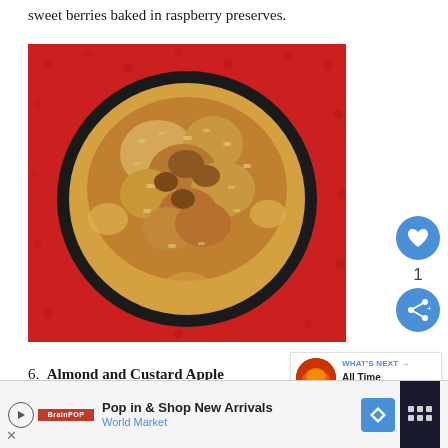sweet berries baked in raspberry preserves.
[Figure (photo): Overhead close-up photo of a baked oat-topped dessert in a dark round ramekin on a red polka-dot background]
6. Almond and Custard Apple Dumplings cheat, scrummy apple dumplings that bake in their very
cheat, scrummy apple dumplings that bake in their very
[Figure (infographic): WHAT'S NEXT arrow label with thumbnail and text: All Time Favourite...]
Pop in & Shop New Arrivals World Market advertisement bar